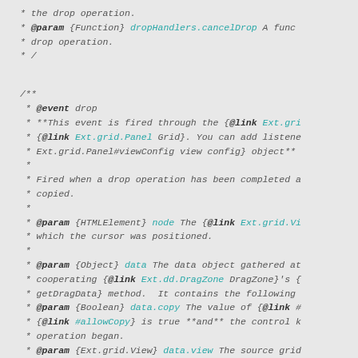* the drop operation.
* @param {Function} dropHandlers.cancelDrop A func
* drop operation.
*/
/**
* @event drop
* **This event is fired through the {@link Ext.gri
* {@link Ext.grid.Panel Grid}. You can add listene
* Ext.grid.Panel#viewConfig view config} object**
*
* Fired when a drop operation has been completed a
* copied.
*
* @param {HTMLElement} node The {@link Ext.grid.Vi
* which the cursor was positioned.
*
* @param {Object} data The data object gathered at
* cooperating {@link Ext.dd.DragZone DragZone}'s {
* getDragData} method.  It contains the following
* @param {Boolean} data.copy The value of {@link #
* {@link #allowCopy} is true **and** the control k
* operation began.
* @param {Ext.grid.View} data.view The source grid